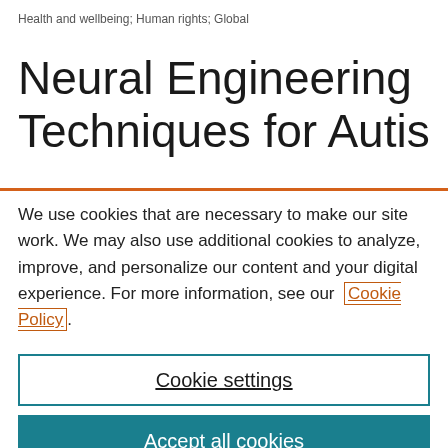Health and wellbeing; Human rights; Global
Neural Engineering
Techniques for Autism
We use cookies that are necessary to make our site work. We may also use additional cookies to analyze, improve, and personalize our content and your digital experience. For more information, see our Cookie Policy.
Cookie settings
Accept all cookies